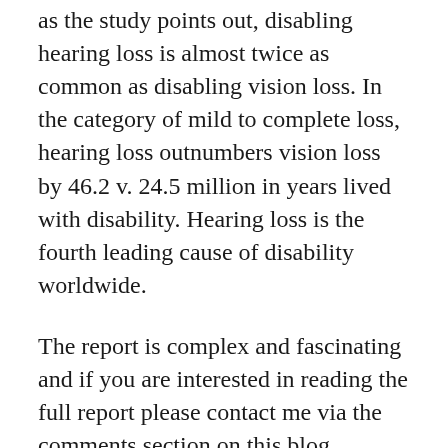as the study points out, disabling hearing loss is almost twice as common as disabling vision loss. In the category of mild to complete loss, hearing loss outnumbers vision loss by 46.2 v. 24.5 million in years lived with disability. Hearing loss is the fourth leading cause of disability worldwide.
The report is complex and fascinating and if you are interested in reading the full report please contact me via the comments section on this blog.
And if you suspect you have hearing loss, be grateful that you live in a country where you may be able to find treatment at a reasonable cost. Over the counter hearing aids will not